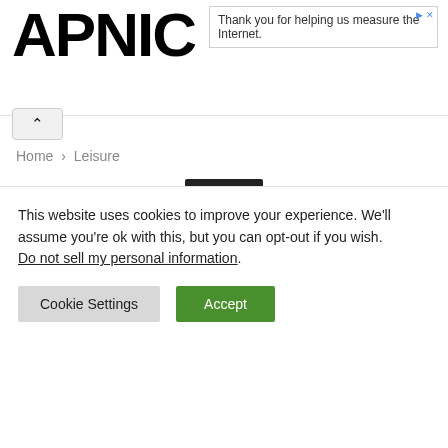APNIC
Thank you for helping us measure the Internet.
Home › Leisure
Leisure
Watch Rainboww_ex Twitter Videos and Pictures Who is
This website uses cookies to improve your experience. We'll assume you're ok with this, but you can opt-out if you wish.
Do not sell my personal information.